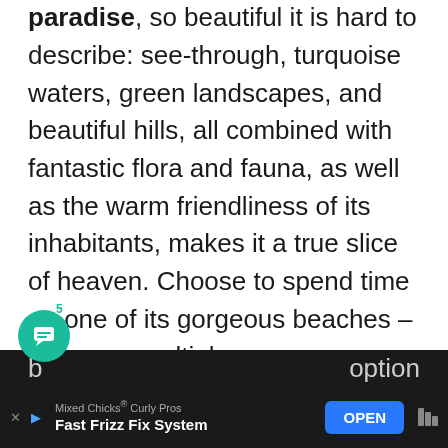The Isola d'Elba is a true natural paradise, so beautiful it is hard to describe: see-through, turquoise waters, green landscapes, and beautiful hills, all combined with fantastic flora and fauna, as well as the warm friendliness of its inhabitants, makes it a true slice of heaven. Choose to spend time on one of its gorgeous beaches – there are multiple b... option a...
[Figure (other): Teal circular chat bubble icon with message lines inside, positioned over the text. A small badge with the number 5 appears above.]
[Figure (other): Advertisement bar at the bottom: Mixed Chicks Curly Pros 'Fast Frizz Fix System' with an OPEN button in blue, close/arrow controls on left, and a bar-chart-like logo on the right.]